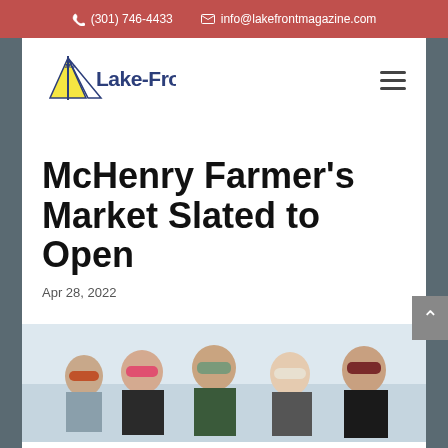(301) 746-4433   info@lakefrontmagazine.com
[Figure (logo): The Lake-Front magazine logo with sailboat icon and stylized text]
McHenry Farmer's Market Slated to Open
Apr 28, 2022
[Figure (photo): Five women wearing winter hats and coats, smiling outdoors in a snowy setting]